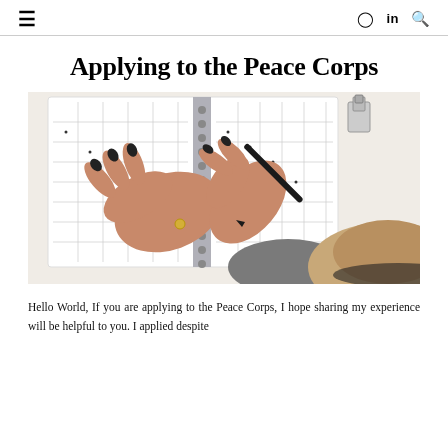≡   [instagram] in [search]
Applying to the Peace Corps
[Figure (photo): Overhead view of a person with dark nail polish writing in a spiral-bound planner/calendar on a white surface, with a tan straw hat visible in the lower right corner]
Hello World, If you are applying to the Peace Corps, I hope sharing my experience will be helpful to you. I applied despite